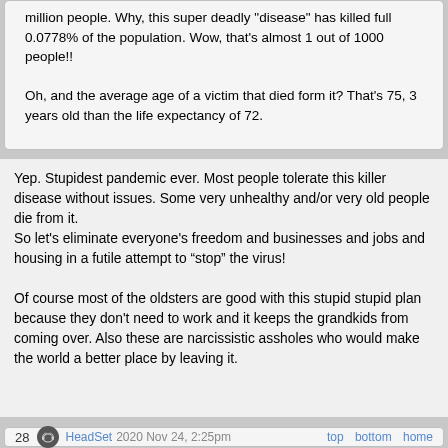million people. Why, this super deadly "disease" has killed full 0.0778% of the population. Wow, that's almost 1 out of 1000 people!!

Oh, and the average age of a victim that died form it? That's 75, 3 years old than the life expectancy of 72.
Yep. Stupidest pandemic ever. Most people tolerate this killer disease without issues. Some very unhealthy and/or very old people die from it.
So let's eliminate everyone's freedom and businesses and jobs and housing in a futile attempt to “stop” the virus!

Of course most of the oldsters are good with this stupid stupid plan because they don't need to work and it keeps the grandkids from coming over. Also these are narcissistic assholes who would make the world a better place by leaving it.
28  HeadSet  2020 Nov 24, 2:25pm
top  bottom  home
it b...